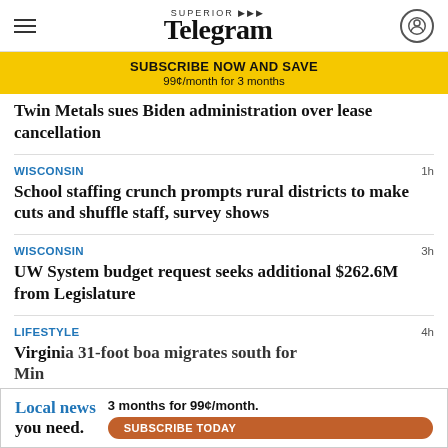Superior Telegram
SUBSCRIBE NOW AND SAVE
99¢/month for 3 months
Twin Metals sues Biden administration over lease cancellation
WISCONSIN
School staffing crunch prompts rural districts to make cuts and shuffle staff, survey shows
WISCONSIN
UW System budget request seeks additional $262.6M from Legislature
LIFESTYLE
Virginia 31-foot boa migrates south for Minnesota...
[Figure (infographic): Advertisement banner: Local news you need. 3 months for 99¢/month. SUBSCRIBE TODAY button.]